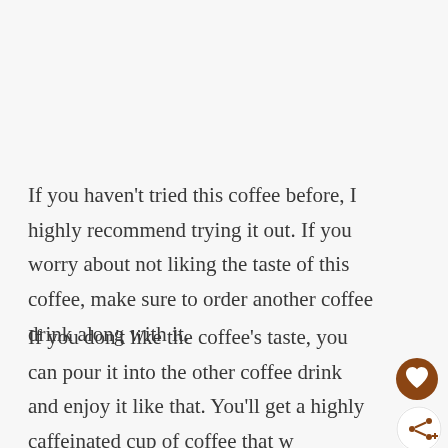If you haven't tried this coffee before, I highly recommend trying it out. If you worry about not liking the taste of this coffee, make sure to order another coffee drink along with it.
If you don't like the coffee's taste, you can pour it into the other coffee drink and enjoy it like that. You'll get a highly caffeinated cup of coffee that will get you through the day!